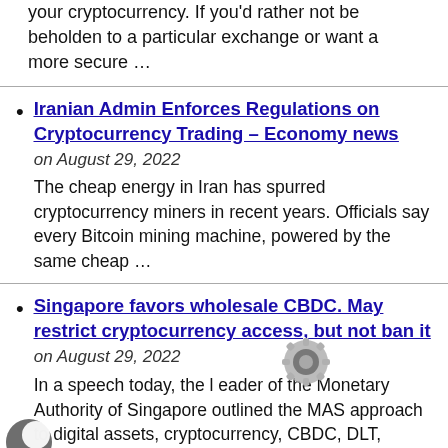your cryptocurrency. If you'd rather not be beholden to a particular exchange or want a more secure …
Iranian Admin Enforces Regulations on Cryptocurrency Trading – Economy news
on August 29, 2022
The cheap energy in Iran has spurred cryptocurrency miners in recent years. Officials say every Bitcoin mining machine, powered by the same cheap …
Singapore favors wholesale CBDC. May restrict cryptocurrency access, but not ban it
on August 29, 2022
In a speech today, the leader of the Monetary Authority of Singapore outlined the MAS approach to digital assets, cryptocurrency, CBDC, DLT,